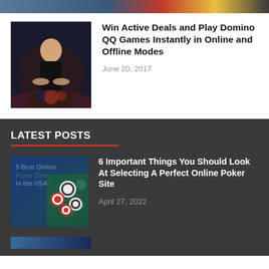[Figure (photo): Partial image strip visible at top of page]
[Figure (photo): Woman dealer at casino table in dark setting]
Win Active Deals and Play Domino QQ Games Instantly in Online and Offline Modes
June 20, 2017
LATEST POSTS
[Figure (photo): 5 Best Online Poker Sites in the USA - image with poker chips]
6 Important Things You Should Look At Selecting A Perfect Online Poker Site
April 27, 2022
[Figure (photo): Partial image strip visible at bottom of page]